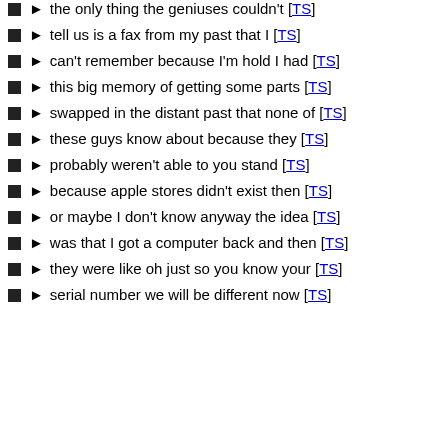the only thing the geniuses couldn't [TS]
tell us is a fax from my past that I [TS]
can't remember because I'm hold I had [TS]
this big memory of getting some parts [TS]
swapped in the distant past that none of [TS]
these guys know about because they [TS]
probably weren't able to you stand [TS]
because apple stores didn't exist then [TS]
or maybe I don't know anyway the idea [TS]
was that I got a computer back and then [TS]
they were like oh just so you know your [TS]
serial number we will be different now [TS]